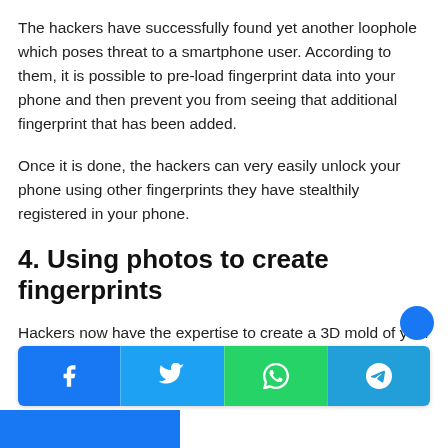The hackers have successfully found yet another loophole which poses threat to a smartphone user. According to them, it is possible to pre-load fingerprint data into your phone and then prevent you from seeing that additional fingerprint that has been added.
Once it is done, the hackers can very easily unlock your phone using other fingerprints they have stealthily registered in your phone.
4. Using photos to create fingerprints
Hackers now have the expertise to create a 3D mold of your fingerprint out of photos. Amazingly, they don't even need yo…
[Figure (other): Social share bar with Facebook, Twitter, WhatsApp, and Telegram buttons]